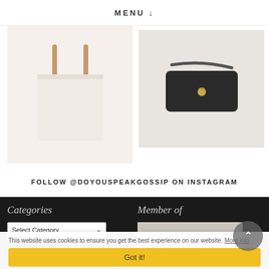MENU ↓
[Figure (photo): Two product images side by side: left shows a light beige/cream tote bag with wooden handles on a light background, right shows a black crossbody bag on a grey background.]
FOLLOW @DOYOUSPEAKGOSSIP ON INSTAGRAM
Categories
Member of
[Figure (logo): Stylishly logo in red cursive script on a light background]
This website uses cookies to ensure you get the best experience on our website. More info
Got it!